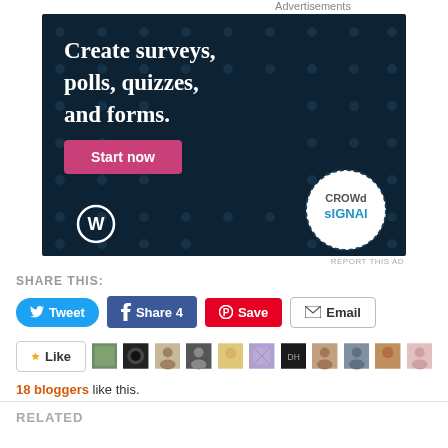Advertisements
[Figure (illustration): Crowdsignal advertisement banner with dark navy background and dot pattern. Text reads 'Create surveys, polls, quizzes, and forms.' with a pink 'Start now' button, WordPress logo bottom left, and Crowdsignal circular badge bottom right.]
REPORT THIS AD
SHARE THIS:
Tweet
Share 4
Save
Email
Like
18 bloggers like this.
RELATED